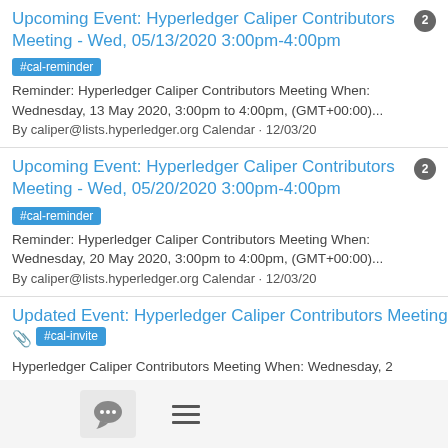Upcoming Event: Hyperledger Caliper Contributors Meeting - Wed, 05/13/2020 3:00pm-4:00pm 2
#cal-reminder
Reminder: Hyperledger Caliper Contributors Meeting When: Wednesday, 13 May 2020, 3:00pm to 4:00pm, (GMT+00:00)...
By caliper@lists.hyperledger.org Calendar · 12/03/20
Upcoming Event: Hyperledger Caliper Contributors Meeting - Wed, 05/20/2020 3:00pm-4:00pm 2
#cal-reminder
Reminder: Hyperledger Caliper Contributors Meeting When: Wednesday, 20 May 2020, 3:00pm to 4:00pm, (GMT+00:00)...
By caliper@lists.hyperledger.org Calendar · 12/03/20
Updated Event: Hyperledger Caliper Contributors Meeting 📎 #cal-invite
Hyperledger Caliper Contributors Meeting When: Wednesday, 2 December 2020 3:00pm to 4:00pm (UTC+00:00) UTC Repeats:...
By caliper@lists.hyperledger.org Calendar · 12/02/20